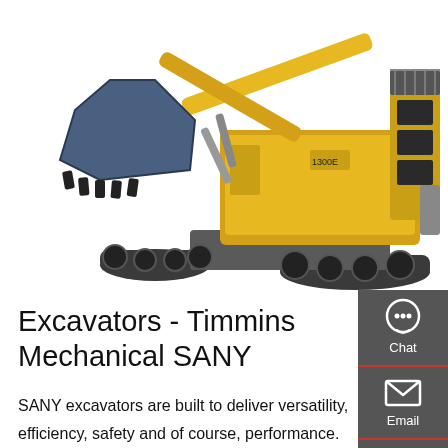[Figure (photo): Large yellow SANY excavator/shovel with a bucket attachment, shown against a white background. The machine has crawler tracks and appears to be a large mining-class excavator.]
Excavators - Timmins Mechanical SANY
SANY excavators are built to deliver versatility, efficiency, safety and of course, performance. Whether you need a nimble mini excavator to tackle work in tight spaces or a large excavator to take on serious earthmoving jobs, SANY has you covered. All machines are loaded with the latest technologies to help reduce costs, increase productivity and boost efficiency. In fact, the standard